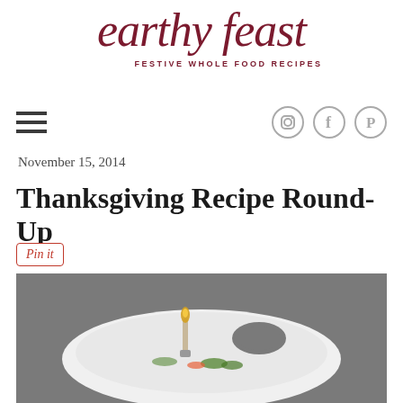earthy feast — FESTIVE WHOLE FOOD RECIPES
[Figure (logo): Earthy feast logo in dark red cursive script with tagline FESTIVE WHOLE FOOD RECIPES]
[Figure (infographic): Navigation bar with hamburger menu icon on left and social media icons (Instagram, Facebook, Pinterest) on right]
November 15, 2014
Thanksgiving Recipe Round-Up
Pin it
[Figure (photo): Food photo showing a white ceramic serving dish with a handle cutout, containing vegetables and a candle holder, on a grey background]